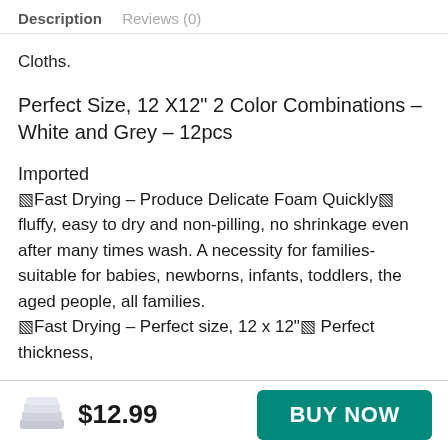Description   Reviews (0)
Cloths.
Perfect Size, 12 X12" 2 Color Combinations – White and Grey – 12pcs
Imported
⬛Fast Drying – Produce Delicate Foam Quickly⬛ fluffy, easy to dry and non-pilling, no shrinkage even after many times wash. A necessity for families-suitable for babies, newborns, infants, toddlers, the aged people, all families.
⬛Fast Drying – Perfect size, 12 x 12"⬛ Perfect thickness,
$12.99
BUY NOW